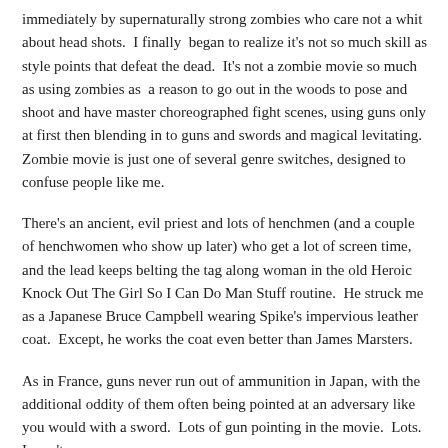immediately by supernaturally strong zombies who care not a whit about head shots.  I finally  began to realize it's not so much skill as style points that defeat the dead.  It's not a zombie movie so much as using zombies as  a reason to go out in the woods to pose and shoot and have master choreographed fight scenes, using guns only at first then blending in to guns and swords and magical levitating.  Zombie movie is just one of several genre switches, designed to confuse people like me.
There's an ancient, evil priest and lots of henchmen (and a couple of henchwomen who show up later) who get a lot of screen time, and the lead keeps belting the tag along woman in the old Heroic Knock Out The Girl So I Can Do Man Stuff routine.  He struck me as a Japanese Bruce Campbell wearing Spike's impervious leather coat.  Except, he works the coat even better than James Marsters.
As in France, guns never run out of ammunition in Japan, with the additional oddity of them often being pointed at an adversary like you would with a sword.  Lots of gun pointing in the movie.  Lots.  I won't